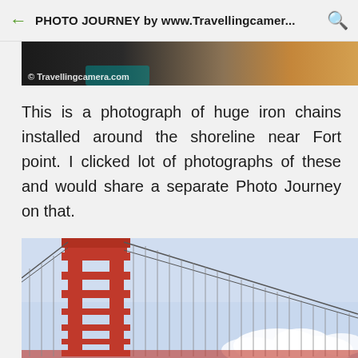PHOTO JOURNEY by www.Travellingcamer...
[Figure (photo): Partial view of a nature/travel photograph showing watermark text '© Travellingcamera.com' with autumn-colored foliage and teal water]
This is a photograph of huge iron chains installed around the shoreline near Fort point. I clicked lot of photographs of these and would share a separate Photo Journey on that.
[Figure (photo): Photograph of the Golden Gate Bridge tower in red/orange color against a light blue sky with white clouds in the lower right]